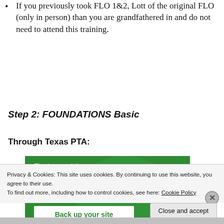If you previously took FLO 1&2, Lott of the original FLO (only in person) than you are grandfathered in and do not need to attend this training.
Step 2: FOUNDATIONS Basic
Through Texas PTA:
[Figure (screenshot): Advertisement banner for WordPress backup plugin showing green background with white text reading 'The best real-time WordPress backup plugin' and a 'Back up your site' button.]
Privacy & Cookies: This site uses cookies. By continuing to use this website, you agree to their use.
To find out more, including how to control cookies, see here: Cookie Policy